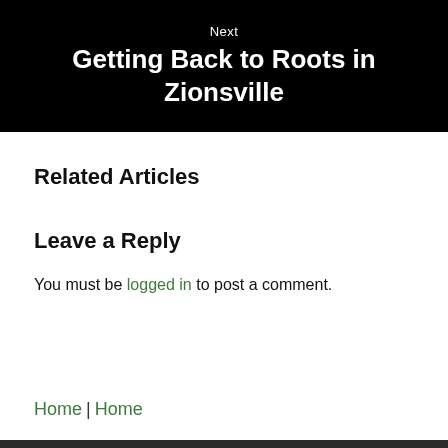[Figure (other): Black banner with navigation text 'Next' and title 'Getting Back to Roots in Zionsville' in white text on black background]
Related Articles
Leave a Reply
You must be logged in to post a comment.
Home | Home